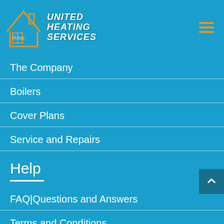[Figure (logo): United Heating Services logo with house outline in orange and company name in white bold italic text]
The Company
Boilers
Cover Plans
Service and Repairs
Help
FAQ|Questions and Answers
Terms and Conditions